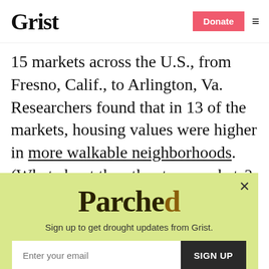Grist | Donate
15 markets across the U.S., from Fresno, Calif., to Arlington, Va. Researchers found that in 13 of the markets, housing values were higher in more walkable neighborhoods. (What about the other two markets? In Bakersfield, Calif., no correlation was found; in the other, which
[Figure (other): Popup newsletter signup overlay with light yellow-green background. Shows 'Parched' logo text, subtitle 'Sign up to get drought updates from Grist.', email input field, SIGN UP button, and 'No thanks' link.]